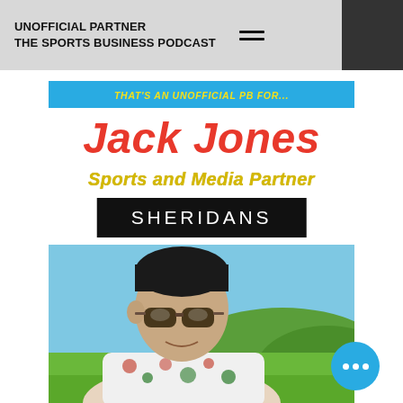UNOFFICIAL PARTNER
THE SPORTS BUSINESS PODCAST
THAT'S AN UNOFFICIAL PB FOR...
Jack Jones
Sports and Media Partner
[Figure (logo): SHERIDANS logo — white text on black background]
[Figure (photo): Photo of Jack Jones wearing sunglasses and a floral shirt, outdoors with hills and blue sky in the background]